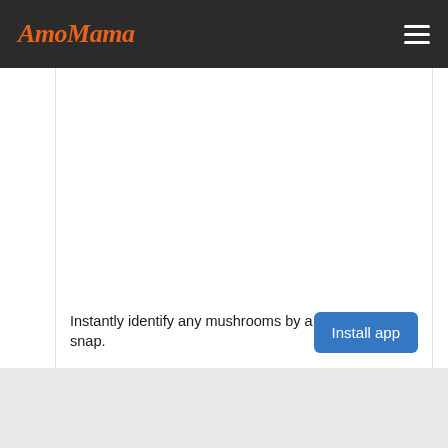AmoMama
[Figure (other): Blank white content area representing the main article body of the AmoMama website]
Instantly identify any mushrooms by a snap.
Install app